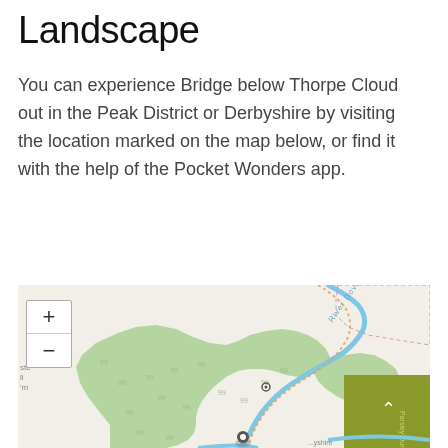Landscape
You can experience Bridge below Thorpe Cloud out in the Peak District or Derbyshire by visiting the location marked on the map below, or find it with the help of the Pocket Wonders app.
[Figure (map): Interactive map showing the area around Bridge below Thorpe Cloud in the Peak District, with green vegetation areas and the River Dove shown in blue. Includes zoom in/out controls and a back-to-top button overlay.]